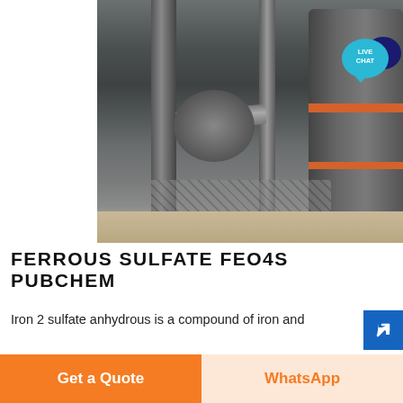[Figure (photo): Industrial machinery at a chemical plant — large grey cylindrical tanks with orange bands, vertical pipes, a rotating machine component with an orange fitting, metal grating floor, and sandy ground. Possibly ferrous sulfate production equipment.]
FERROUS SULFATE FEO4S PUBCHEM
Iron 2 sulfate anhydrous is a compound of iron and
Get a Quote
WhatsApp